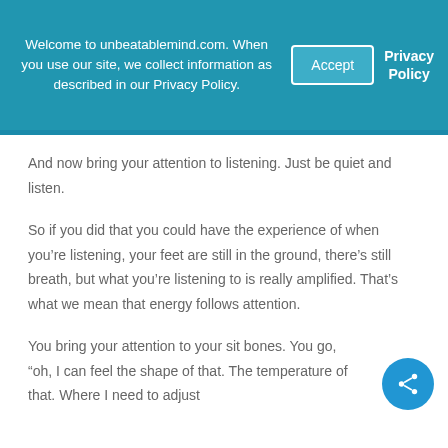Welcome to unbeatablemind.com. When you use our site, we collect information as described in our Privacy Policy.
And now bring your attention to listening. Just be quiet and listen.
So if you did that you could have the experience of when you’re listening, your feet are still in the ground, there’s still breath, but what you’re listening to is really amplified. That’s what we mean that energy follows attention.
You bring your attention to your sit bones. You go, “oh, I can feel the shape of that. The temperature of that. Where I need to adjust